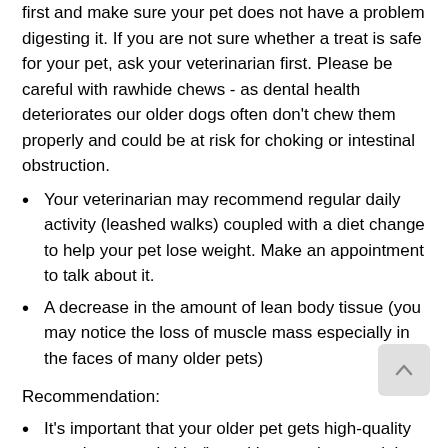first and make sure your pet does not have a problem digesting it. If you are not sure whether a treat is safe for your pet, ask your veterinarian first. Please be careful with rawhide chews - as dental health deteriorates our older dogs often don't chew them properly and could be at risk for choking or intestinal obstruction.
Your veterinarian may recommend regular daily activity (leashed walks) coupled with a diet change to help your pet lose weight. Make an appointment to talk about it.
A decrease in the amount of lean body tissue (you may notice the loss of muscle mass especially in the faces of many older pets)
Recommendation:
It's important that your older pet gets high-quality protein to supply him/her with enough essential